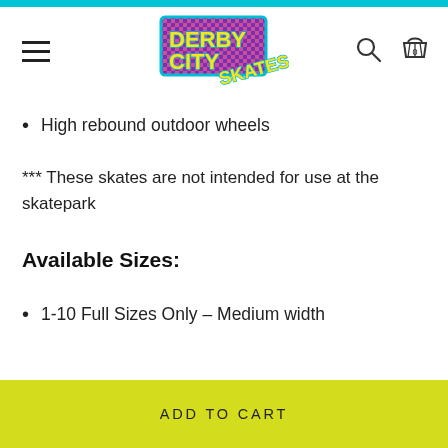Derby City Skates — navigation header with logo, hamburger menu, search and cart icons
High rebound outdoor wheels
*** These skates are not intended for use at the skatepark
Available Sizes:
1-10 Full Sizes Only – Medium width
ADD TO CART